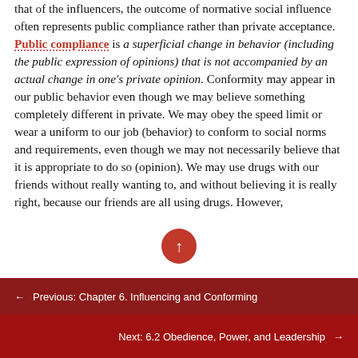that of the influencers, the outcome of normative social influence often represents public compliance rather than private acceptance. Public compliance is a superficial change in behavior (including the public expression of opinions) that is not accompanied by an actual change in one's private opinion. Conformity may appear in our public behavior even though we may believe something completely different in private. We may obey the speed limit or wear a uniform to our job (behavior) to conform to social norms and requirements, even though we may not necessarily believe that it is appropriate to do so (opinion). We may use drugs with our friends without really wanting to, and without believing it is really right, because our friends are all using drugs. However,
← Previous: Chapter 6. Influencing and Conforming
Next: 6.2 Obedience, Power, and Leadership →